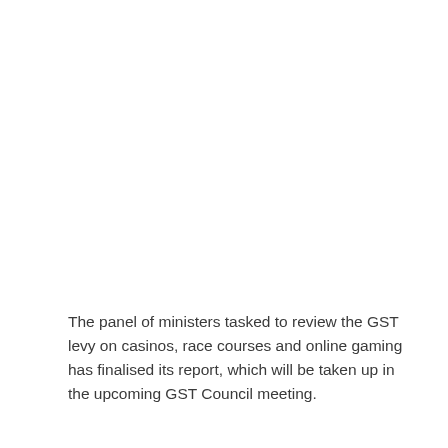The panel of ministers tasked to review the GST levy on casinos, race courses and online gaming has finalised its report, which will be taken up in the upcoming GST Council meeting.